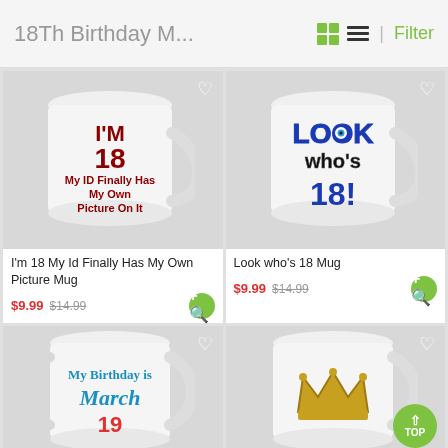18Th Birthday M...
[Figure (photo): White ceramic mug with red text: I'M 18 My ID Finally Has My Own Picture On It]
[Figure (photo): White ceramic mug with blue text: Look who's 18!]
I'm 18 My Id Finally Has My Own Picture Mug
$9.99  $14.99
Look who's 18 Mug
$9.99  $14.99
[Figure (photo): White ceramic mug with colorful text: My Birthday is March 19...]
[Figure (photo): White ceramic mug with gold crown graphic]